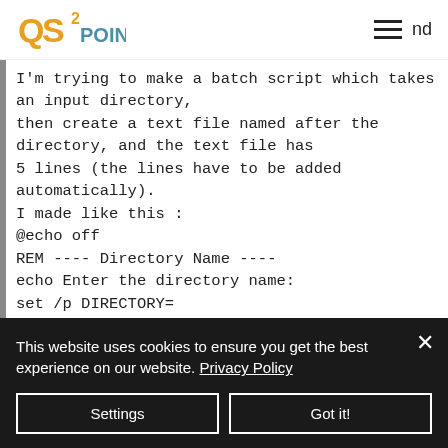QS2POINT nd
I'm trying to make a batch script which takes an input directory,
then create a text file named after the directory, and the text file has
5 lines (the lines have to be added automatically).
I made like this :
@echo off
REM ---- Directory Name ----
echo Enter the directory name:
set /p DIRECTORY=
REM ---- Generate the file name ----
This website uses cookies to ensure you get the best experience on our website. Privacy Policy
Settings
Got it!